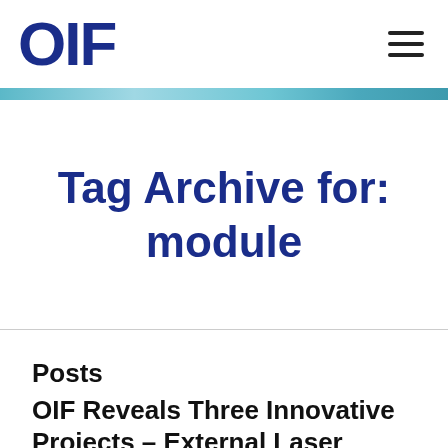OIF
Tag Archive for: module
Posts
OIF Reveals Three Innovative Projects – External Laser Small